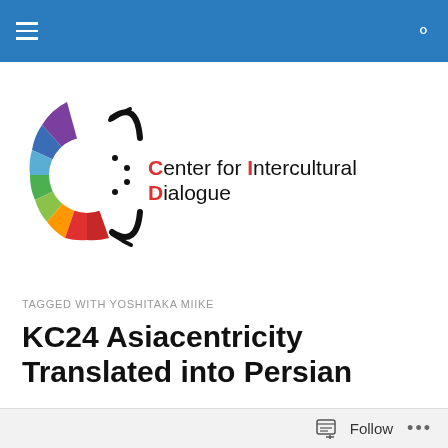Center for Intercultural Dialogue — navigation bar
[Figure (logo): Colorful circular logo with rainbow-colored segments forming a 'C' shape with black arcs on top and bottom]
Center for Intercultural Dialogue
TAGGED WITH YOSHITAKA MIIKE
KC24 Asiacentricity Translated into Persian
Continuing translations of Key Concepts in Intercultural Dialogue, today I am posting KC24: Asiacentricity, which
Follow